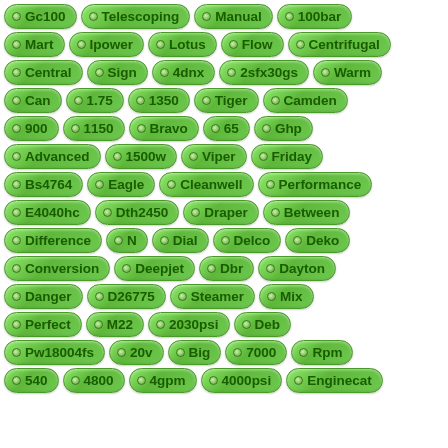[Figure (infographic): A grid of green pill-shaped tag/badge elements with bullet points, each containing a product or category keyword. Rows of tags include: Gc100, Telescoping, Manual, 100bar; Mart, Ipower, Lotus, Flow, Centrifugal; Central, Sign, 4dnx, 2sfx30gs, Warm; Can, 1.75, 1350, Tiger, Camden; 900, 1150, Bravo, 65, Ghp; Advanced, 1500w, Viper, Friday; Bs4764, Eagle, Cleanwell, Performance; E4040hc, Dth2450, Draper, Between; Difference, N, Dial, Delco, Deko; Conversion, Deepjet, Dbr, Dayton; Danger, D26775, Steamer, Mix; Perfect, M22, 2030psi, Deb; Pw18004fs, 20v, Big, 7000, Rpm; 540, 4800, 4gpm, 4000psi, Enginecat]